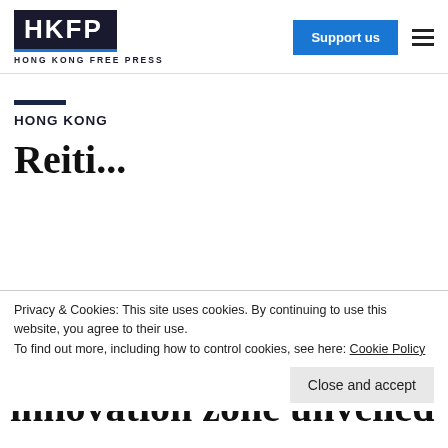HKFP HONG KONG FREE PRESS | Support us
[Figure (other): Advertisement/blank space area]
HONG KONG
innovation zone unveiled
Privacy & Cookies: This site uses cookies. By continuing to use this website, you agree to their use. To find out more, including how to control cookies, see here: Cookie Policy
Close and accept